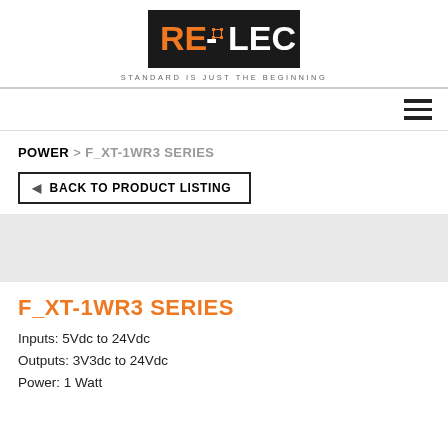[Figure (logo): RE-LEC logo on black background with orange RE and white LEC text, circuit board graphic in between]
STANDARD IS JUST THE BEGINNING
POWER > F_XT-1WR3 SERIES
◁  BACK TO PRODUCT LISTING
[Figure (photo): Grey placeholder image area]
F_XT-1WR3 SERIES
Inputs: 5Vdc to 24Vdc
Outputs: 3V3dc to 24Vdc
Power: 1 Watt